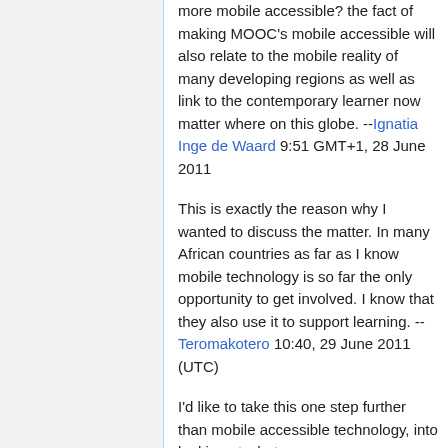more mobile accessible? the fact of making MOOC's mobile accessible will also relate to the mobile reality of many developing regions as well as link to the contemporary learner now matter where on this globe. --Ignatia Inge de Waard 9:51 GMT+1, 28 June 2011
This is exactly the reason why I wanted to discuss the matter. In many African countries as far as I know mobile technology is so far the only opportunity to get involved. I know that they also use it to support learning. --Teromakotero 10:40, 29 June 2011 (UTC)
I'd like to take this one step further than mobile accessible technology, into looking at what